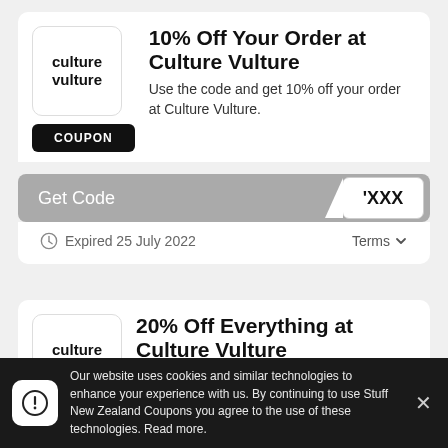[Figure (logo): Culture Vulture logo box with bold text 'culture vulture']
10% Off Your Order at Culture Vulture
Use the code and get 10% off your order at Culture Vulture.
COUPON
Get Code  'XXX
Expired 25 July 2022
Terms
[Figure (logo): Culture Vulture logo box with bold text 'culture vulture']
20% Off Everything at Culture Vulture
Use the code and get 20% off everything at Culture Vulture
Our website uses cookies and similar technologies to enhance your experience with us. By continuing to use Stuff New Zealand Coupons you agree to the use of these technologies. Read more.